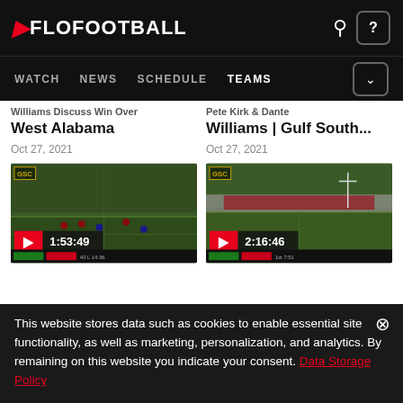FLOFOOTBALL
WATCH  NEWS  SCHEDULE  TEAMS
Williams Discuss Win Over West Alabama
Oct 27, 2021
Pete Kirk & Dante Williams | Gulf South...
Oct 27, 2021
[Figure (screenshot): Football game video thumbnail with GSC badge, play button, duration 1:53:49, and scorebar]
[Figure (screenshot): Football game video thumbnail with GSC badge, play button, duration 2:16:46, and scorebar]
This website stores data such as cookies to enable essential site functionality, as well as marketing, personalization, and analytics. By remaining on this website you indicate your consent. Data Storage Policy